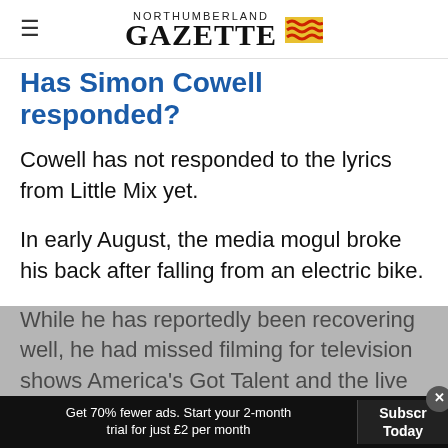NORTHUMBERLAND GAZETTE
Has Simon Cowell responded?
Cowell has not responded to the lyrics from Little Mix yet.
In early August, the media mogul broke his back after falling from an electric bike.
While he has reportedly been recovering well, he had missed filming for television shows America's Got Talent and the live rounds of
Get 70% fewer ads. Start your 2-month trial for just £2 per month  Subscribe Today